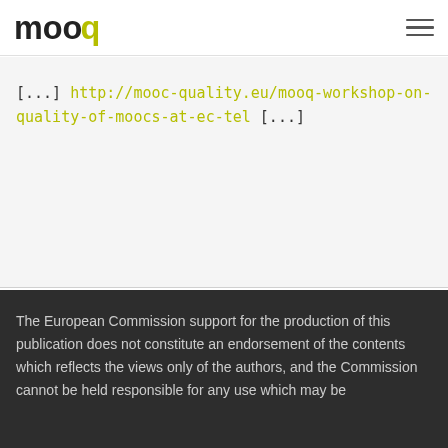mooq [logo] [hamburger menu]
[...] http://mooc-quality.eu/mooq-workshop-on-quality-of-moocs-at-ec-tel [...]
The European Commission support for the production of this publication does not constitute an endorsement of the contents which reflects the views only of the authors, and the Commission cannot be held responsible for any use which may be